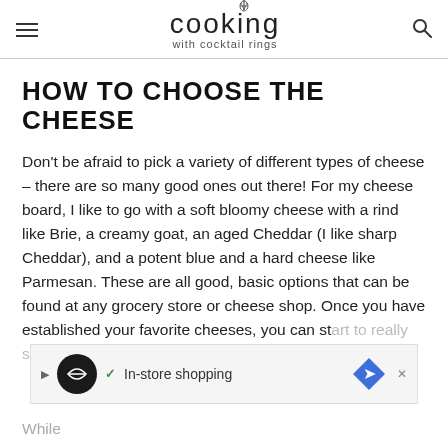cooking with cocktail rings
HOW TO CHOOSE THE CHEESE
Don't be afraid to pick a variety of different types of cheese – there are so many good ones out there! For my cheese board, I like to go with a soft bloomy cheese with a rind like Brie, a creamy goat, an aged Cheddar (I like sharp Cheddar), and a potent blue and a hard cheese like Parmesan. These are all good, basic options that can be found at any grocery store or cheese shop. Once you have established your favorite cheeses, you can start to really specialize.